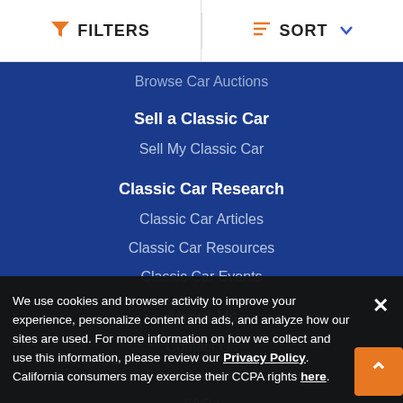FILTERS   SORT
Browse Car Auctions
Sell a Classic Car
Sell My Classic Car
Classic Car Research
Classic Car Articles
Classic Car Resources
Classic Car Events
About Us
Contact Us
Fraud Awareness
FAQs
We use cookies and browser activity to improve your experience, personalize content and ads, and analyze how our sites are used. For more information on how we collect and use this information, please review our Privacy Policy. California consumers may exercise their CCPA rights here.